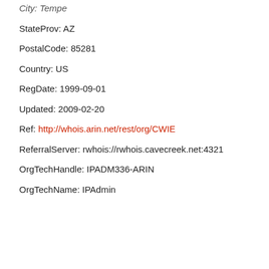City: Tempe
StateProv: AZ
PostalCode: 85281
Country: US
RegDate: 1999-09-01
Updated: 2009-02-20
Ref: http://whois.arin.net/rest/org/CWIE
ReferralServer: rwhois://rwhois.cavecreek.net:4321
OrgTechHandle: IPADM336-ARIN
OrgTechName: IPAdmin